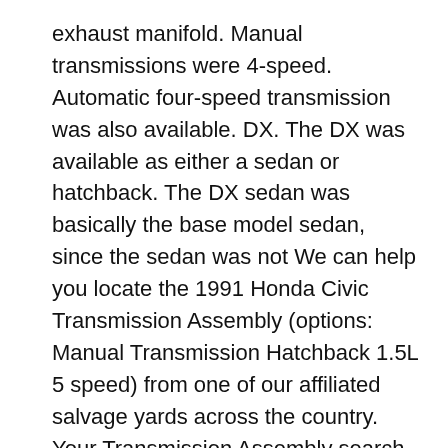exhaust manifold. Manual transmissions were 4-speed. Automatic four-speed transmission was also available. DX. The DX was available as either a sedan or hatchback. The DX sedan was basically the base model sedan, since the sedan was not We can help you locate the 1991 Honda Civic Transmission Assembly (options: Manual Transmission Hatchback 1.5L 5 speed) from one of our affiliated salvage yards across the country. Your Transmission Assembly search (Part # or ) will be submitted to a large number of salvage yards and auto parts warehouses that might stock your part.
1991 Honda CIVIC HATCHBACK DX 5